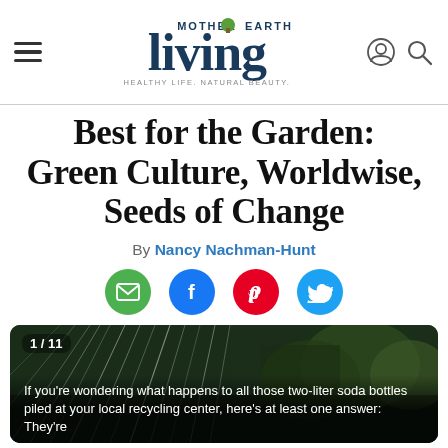Mother Earth Living — HEALTHY LIFE. NATURAL BEAUTY.
Best for the Garden: Green Culture, Worldwise, Seeds of Change
By Nancy Nachman-Hunt
[Figure (illustration): Row of four social sharing buttons: green circle with envelope (email), blue circle with Facebook f logo, red circle with Pinterest P logo, light blue circle with Twitter bird logo]
[Figure (photo): Outdoor garden scene with radiating white lines over dark background, counter shows 1/11]
If you're wondering what happens to all those two-liter soda bottles piled at your local recycling center, here's at least one answer: They're